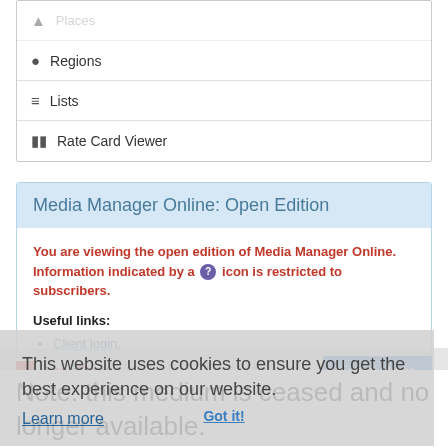Regions
Lists
Rate Card Viewer
Media Manager Online: Open Edition
You are viewing the open edition of Media Manager Online. Information indicated by a ? icon is restricted to subscribers.
Useful links:
Client login.
Learn more about Media Manager Online.
Contact us to subscribe to Media Manager Online.
If you are a media owner and would like to know more about our services.
This website uses cookies to ensure you get the best experience on our website.
Learn more
AbouTime
Export Media
Got it!
Note: this medium is ceased and no longer available.